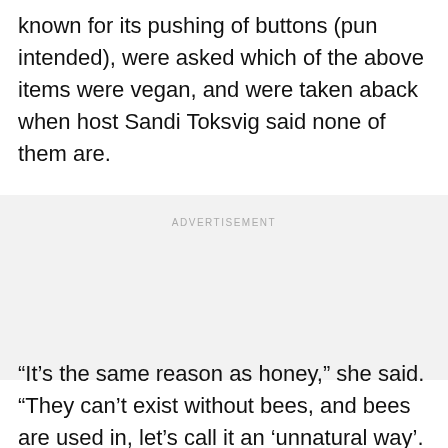known for its pushing of buttons (pun intended), were asked which of the above items were vegan, and were taken aback when host Sandi Toksvig said none of them are.
ADVERTISEMENT
“It’s the same reason as honey,” she said. “They can’t exist without bees, and bees are used in, let’s call it an ‘unnatural way’.